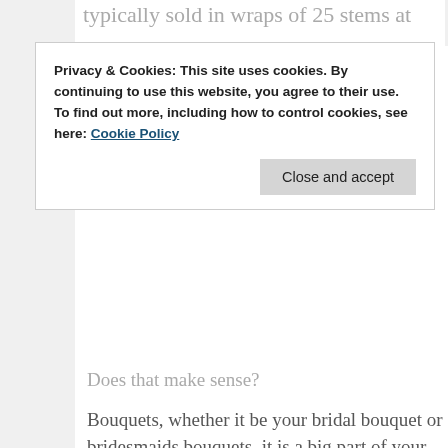typically sold in wraps of 25 stems at
Privacy & Cookies: This site uses cookies. By continuing to use this website, you agree to their use.
To find out more, including how to control cookies, see here: Cookie Policy
Close and accept
Does that make sense?
Bouquets, whether it be your bridal bouquet or bridesmaids bouquets, it is a big part of your big day! When it comes down to it, there are two obvious choices – 100% Gypsophila – a floral ‘cloud’ or a combination of flower varieties, like roses, peonies, ranunculus, hydrangeas (&  the list goes on...) and gyp to create that elegant twist. Or maybe you fancy a little more